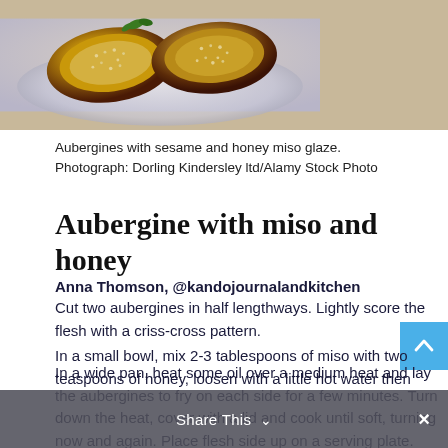[Figure (photo): Close-up photo of aubergines with sesame and honey miso glaze on a plate, showing golden-brown glazed eggplant halves with sesame seeds on top]
Aubergines with sesame and honey miso glaze.
Photograph: Dorling Kindersley ltd/Alamy Stock Photo
Aubergine with miso and honey
Anna Thomson, @kandojournalandkitchen
Cut two aubergines in half lengthways. Lightly score the flesh with a criss-cross pattern.
In a wide pan, heat some oil over a medium heat and lay the aubergines to fry on each side for a few minutes. Turn down the heat, cover with a lid and cook until soft, turning now and again. Place flesh side up on a serving plate.
In a small bowl, mix 2-3 tablespoons of miso with two teaspoons of honey, loosen with a little hot water then